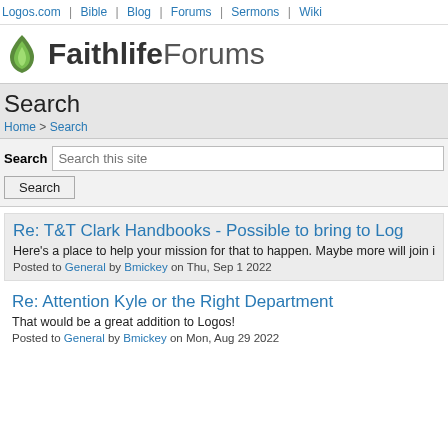Logos.com | Bible | Blog | Forums | Sermons | Wiki
[Figure (logo): Faithlife Forums logo with green flame icon]
Search
Home > Search
Search [input: Search this site] Search [button]
Re: T&T Clark Handbooks - Possible to bring to Logos
Here's a place to help your mission for that to happen. Maybe more will join in
Posted to General by Bmickey on Thu, Sep 1 2022
Re: Attention Kyle or the Right Department
That would be a great addition to Logos!
Posted to General by Bmickey on Mon, Aug 29 2022